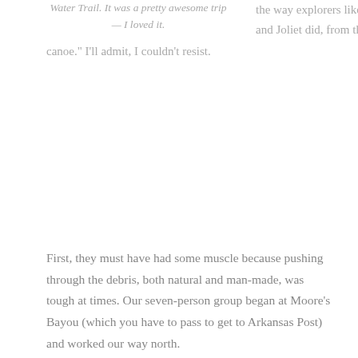Water Trail. It was a pretty awesome trip — I loved it.
the way explorers like Marquette and Joliet did, from the bow of a canoe." I'll admit, I couldn't resist.
First, they must have had some muscle because pushing through the debris, both natural and man-made, was tough at times. Our seven-person group began at Moore's Bayou (which you have to pass to get to Arkansas Post) and worked our way north.